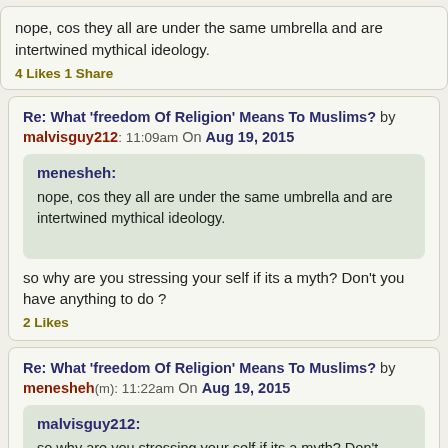nope, cos they all are under the same umbrella and are intertwined mythical ideology.
4 Likes 1 Share
Re: What 'freedom Of Religion' Means To Muslims? by malvisguy212: 11:09am On Aug 19, 2015
menesheh:
nope, cos they all are under the same umbrella and are intertwined mythical ideology.
so why are you stressing your self if its a myth? Don't you have anything to do ?
2 Likes
Re: What 'freedom Of Religion' Means To Muslims? by menesheh(m): 11:22am On Aug 19, 2015
malvisguy212:
so why are you stressing your self if its a myth? Don't